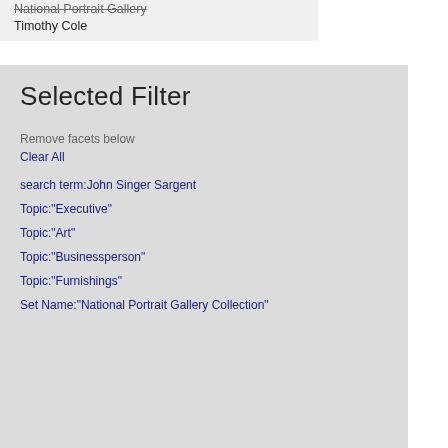National Portrait Gallery
Timothy Cole
Selected Filter
Remove facets below
Clear All
search term:John Singer Sargent
Topic:"Executive"
Topic:"Art"
Topic:"Businessperson"
Topic:"Furnishings"
Set Name:"National Portrait Gallery Collection"